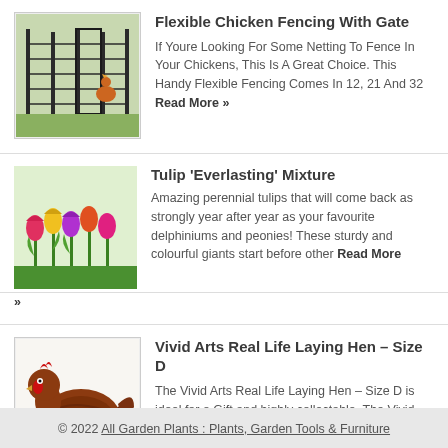[Figure (photo): Flexible chicken fencing with gate product photo]
Flexible Chicken Fencing With Gate
If Youre Looking For Some Netting To Fence In Your Chickens, This Is A Great Choice. This Handy Flexible Fencing Comes In 12, 21 And 32 Read More »
[Figure (photo): Tulip Everlasting Mixture - colorful tulips in bloom]
Tulip 'Everlasting' Mixture
Amazing perennial tulips that will come back as strongly year after year as your favourite delphiniums and peonies! These sturdy and colourful giants start before other Read More »
[Figure (photo): Vivid Arts Real Life Laying Hen – Size D product photo]
Vivid Arts Real Life Laying Hen – Size D
The Vivid Arts Real Life Laying Hen – Size D is ideal for a Gift and highly collectable. The Vivid Arts Real Life range is frost Read More »
© 2022 All Garden Plants : Plants, Garden Tools & Furniture